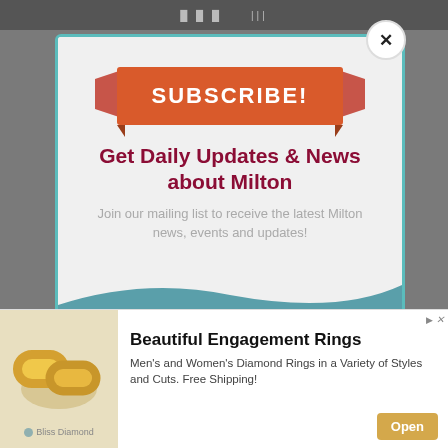[Figure (screenshot): Browser toolbar area with dark background at top of page]
SUBSCRIBE!
Get Daily Updates & News about Milton
Join our mailing list to receive the latest Milton news, events and updates!
[Figure (infographic): Teal wave divider and bottom section of subscription modal with email input field and chevron button]
[Figure (photo): Advertisement showing gold engagement rings from Bliss Diamond]
Beautiful Engagement Rings
Men's and Women's Diamond Rings in a Variety of Styles and Cuts. Free Shipping!
Bliss Diamond